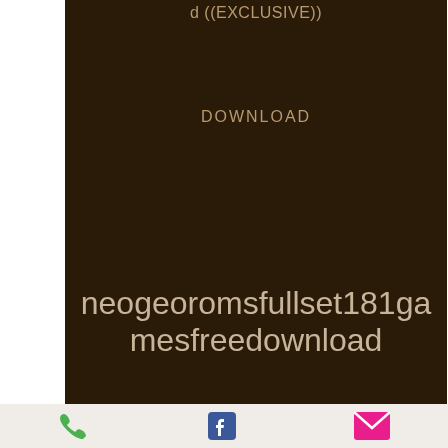d ((EXCLUSIVE))
DOWNLOAD
neogeoromsfullset181gamesfreedownload
[Figure (screenshot): Mobile website screenshot showing dark brown background with partial title 'd ((EXCLUSIVE))', DOWNLOAD link, and large text 'neogeoromsfullset181gamesfreedownload', with a bottom navigation bar containing phone, Facebook, and mail icons]